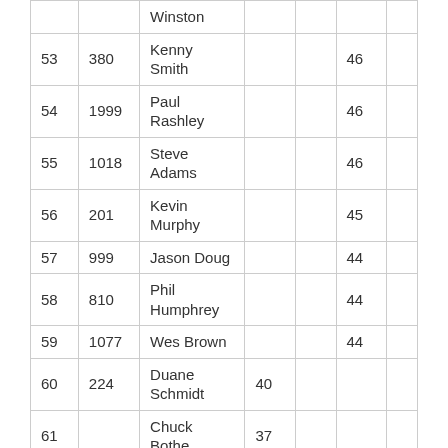|  |  | Winston |  |  |  |  |
| 53 | 380 | Kenny Smith |  |  | 46 |  |
| 54 | 1999 | Paul Rashley |  |  | 46 |  |
| 55 | 1018 | Steve Adams |  |  | 46 |  |
| 56 | 201 | Kevin Murphy |  |  | 45 |  |
| 57 | 999 | Jason Doug |  |  | 44 |  |
| 58 | 810 | Phil Humphrey |  |  | 44 |  |
| 59 | 1077 | Wes Brown |  |  | 44 |  |
| 60 | 224 | Duane Schmidt | 40 |  |  |  |
| 61 |  | Chuck Bothe | 37 |  |  |  |
| 62 |  | Jose | 37 |  |  |  |
| 63 |  | Ken Edwards | 37 |  |  |  |